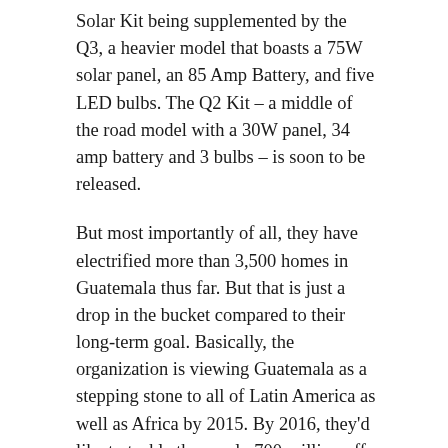Solar Kit being supplemented by the Q3, a heavier model that boasts a 75W solar panel, an 85 Amp Battery, and five LED bulbs. The Q2 Kit – a middle of the road model with a 30W panel, 34 amp battery and 3 bulbs – is soon to be released.
But most importantly of all, they have electrified more than 3,500 homes in Guatemala thus far. But that is just a drop in the bucket compared to their long-term goal. Basically, the organization is viewing Guatemala as a stepping stone to all of Latin America as well as Africa by 2015. By 2016, they'd like to tackle the nearly 700 million off-the-grid homes in Asia.
Might sound ambitious, but Rodriguez and Marroquin feel they have the business acumen and social entrepreneurial savvy to pull it off. And